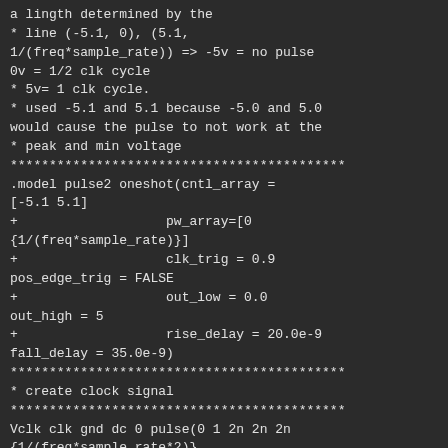a lingth determined by the
* line (-5.1, 0), (5.1,
1/(freq*sample_rate)) => -5v = no pulse
0v = 1/2 clk cycle
* 5v= 1 clk cycle.
* used -5.1 and 5.1 because -5.0 and 5.0
would cause the pulse to not work at the
* peak and min voltage
*******************************************

.model pulse2 oneshot(cntl_array =
[-5.1 5.1]
+                   pw_array=[0
{1/(freq*sample_rate)}]
+                   clk_trig = 0.9
pos_edge_trig = FALSE
+                   out_low = 0.0
out_high = 5
+                   rise_delay = 20.0e-9
fall_delay = 35.0e-9)
*******************************************

* create clock signal
*******************************************

Vclk clk gnd dc 0 pulse(0 1 2n 2n 2n
{1/(freq*sample_rate*2)}
{1/(freq*sample_rate)})
*******************************************